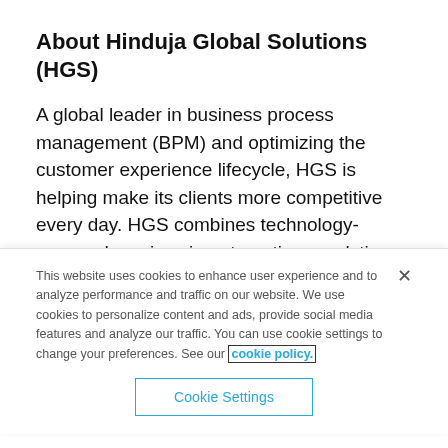About Hinduja Global Solutions (HGS)
A global leader in business process management (BPM) and optimizing the customer experience lifecycle, HGS is helping make its clients more competitive every day. HGS combines technology-powered services in automation, analytics and digital with domain expertise
This website uses cookies to enhance user experience and to analyze performance and traffic on our website. We use cookies to personalize content and ads, provide social media features and analyze our traffic. You can use cookie settings to change your preferences. See our cookie policy.
Cookie Settings